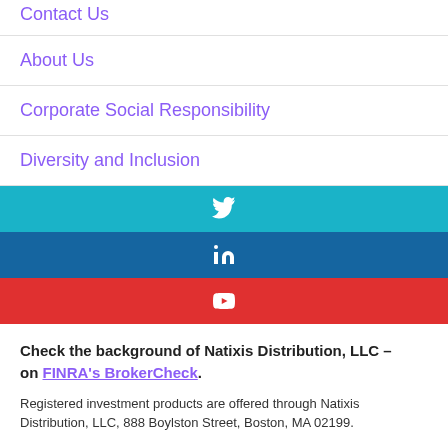Contact Us
About Us
Corporate Social Responsibility
Diversity and Inclusion
[Figure (infographic): Three social media bars: Twitter (teal), LinkedIn (dark blue), YouTube (red), each with centered white icon]
Check the background of Natixis Distribution, LLC – on FINRA's BrokerCheck.
Registered investment products are offered through Natixis Distribution, LLC, 888 Boylston Street, Boston, MA 02199.